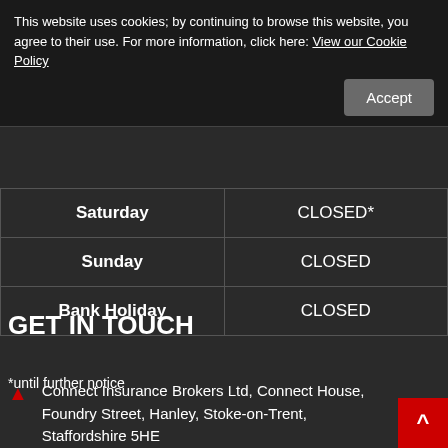This website uses cookies; by continuing to browse this website, you agree to their use. For more information, click here: View our Cookie Policy
| Day | Hours |
| --- | --- |
| Saturday | CLOSED* |
| Sunday | CLOSED |
| Bank Holiday | CLOSED |
*until further notice
GET IN TOUCH
Connect Insurance Brokers Ltd, Connect House, Foundry Street, Hanley, Stoke-on-Trent, Staffordshire 5HE